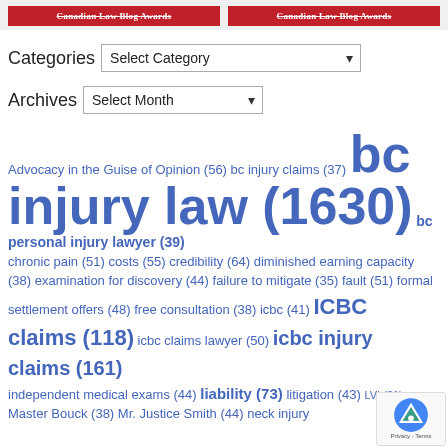[Figure (other): Two red Canadian Law Blog Awards banners side by side]
Categories  Select Category
Archives  Select Month
Advocacy in the Guise of Opinion (56) bc injury claims (37) bc injury law (1630) bc personal injury lawyer (39) chronic pain (51) costs (55) credibility (64) diminished earning capacity (38) examination for discovery (44) failure to mitigate (35) fault (51) formal settlement offers (48) free consultation (38) icbc (41) ICBC claims (118) icbc claims lawyer (50) icbc injury claims (161) independent medical exams (44) liability (73) litigation (43) LVI (31) Master Bouck (38) Mr. Justice Smith (44) neck injury ...